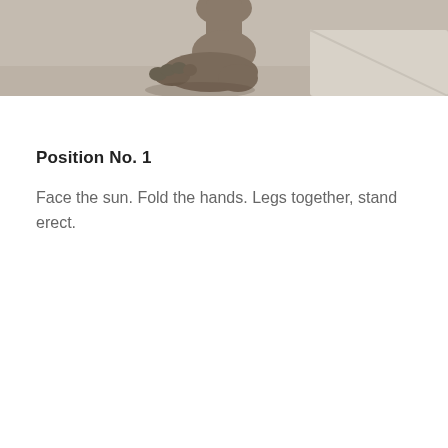[Figure (photo): Partial photograph showing a human foot and ankle, cropped at the top of the page against a light gray background.]
Position No. 1
Face the sun. Fold the hands. Legs together, stand erect.